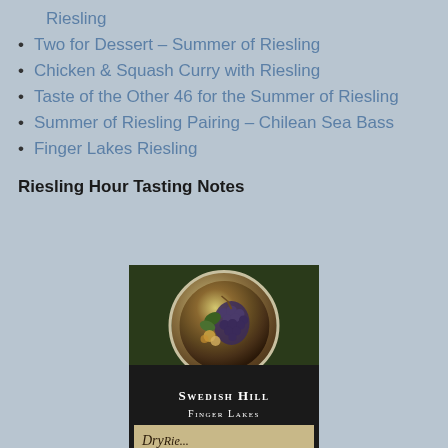Riesling
Two for Dessert – Summer of Riesling
Chicken & Squash Curry with Riesling
Taste of the Other 46 for the Summer of Riesling
Summer of Riesling Pairing – Chilean Sea Bass
Finger Lakes Riesling
Riesling Hour Tasting Notes
[Figure (photo): Photo of a Swedish Hill Finger Lakes wine bottle label showing a circular medallion with grapes illustration, black label with 'Swedish Hill' and 'Finger Lakes' text, and handwritten text below reading 'Dry Riesling']